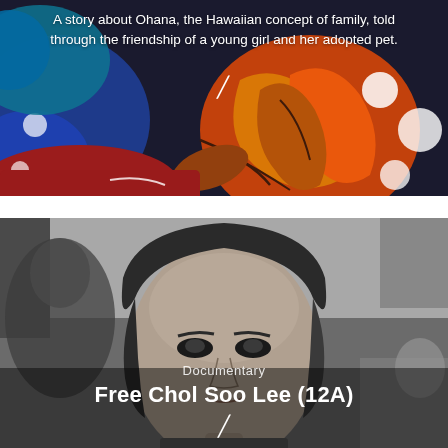[Figure (illustration): Colorful animated illustration from Lilo & Stitch showing characters in bright blue, red, orange, and yellow tones against a dark background.]
A story about Ohana, the Hawaiian concept of family, told through the friendship of a young girl and her adopted pet.
[Figure (photo): Black and white photograph of a young Asian man with medium-length hair, close-up portrait shot, documentary style.]
Documentary
Free Chol Soo Lee (12A)